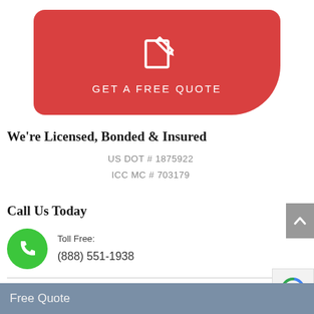[Figure (other): Red rounded button with a pen-and-document icon above the text GET A FREE QUOTE]
We're Licensed, Bonded & Insured
US DOT # 1875922
ICC MC # 703179
Call Us Today
Toll Free:
(888) 551-1938
Free Quote